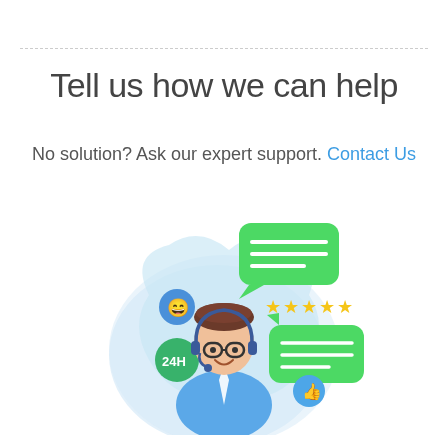Tell us how we can help
No solution? Ask our expert support. Contact Us
[Figure (illustration): Customer support agent illustration: a smiling man with glasses and a headset wearing a blue shirt, surrounded by chat bubbles, a 24H badge, a smiley emoji, stars rating, and a thumbs up, set against a light blue cloud-shaped background.]